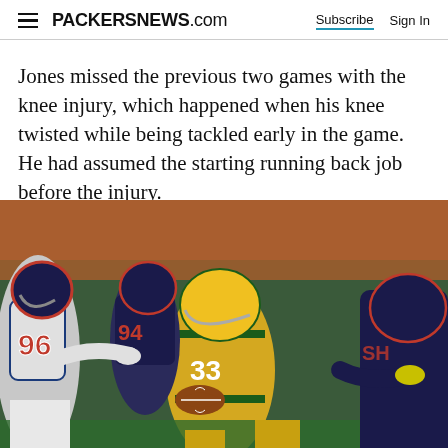PACKERSNEWS.com  Subscribe  Sign In
Jones missed the previous two games with the knee injury, which happened when his knee twisted while being tackled early in the game. He had assumed the starting running back job before the injury.
[Figure (photo): Green Bay Packers running back #33 carrying the football while being tackled by Chicago Bears defenders wearing #96 and #94 during an NFL game.]